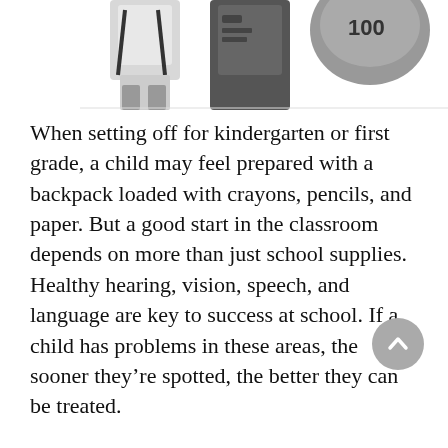[Figure (illustration): Partial view of a cartoon illustration showing children characters, one with a backpack, rendered in black, white, and gray tones. Only the lower portion of the illustration is visible at the top of the page.]
When setting off for kindergarten or first grade, a child may feel prepared with a backpack loaded with crayons, pencils, and paper. But a good start in the classroom depends on more than just school supplies. Healthy hearing, vision, speech, and language are key to success at school. If a child has problems in these areas, the sooner they’re spotted, the better they can be treated.
Sometimes problems with senses, speech, or language fly under the radar. A child with a lazy eye or a little hearing loss might get along